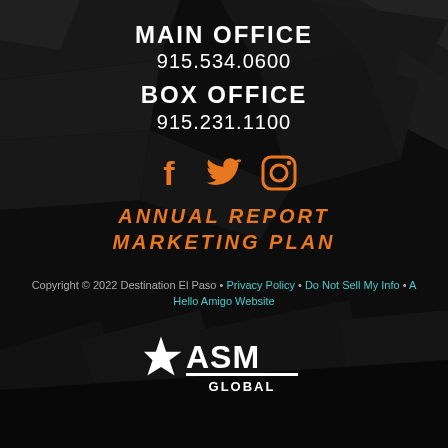MAIN OFFICE
915.534.0600
BOX OFFICE
915.231.1100
[Figure (illustration): Social media icons: Facebook, Twitter, Instagram in orange color]
ANNUAL REPORT MARKETING PLAN
Copyright © 2022 Destination El Paso • Privacy Policy • Do Not Sell My Info • A Hello Amigo Website
[Figure (logo): ASM Global logo — star with stylized ASM text and GLOBAL underneath in white]